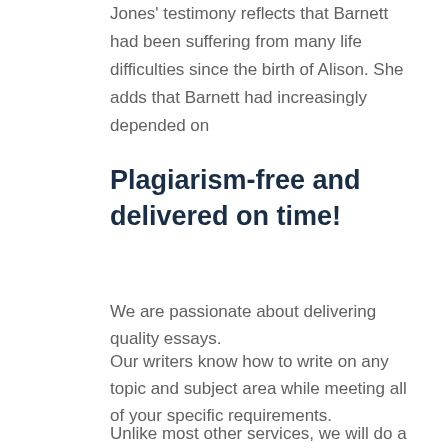Jones' testimony reflects that Barnett had been suffering from many life difficulties since the birth of Alison. She adds that Barnett had increasingly depended on
Plagiarism-free and delivered on time!
We are passionate about delivering quality essays.
Our writers know how to write on any topic and subject area while meeting all of your specific requirements.
Unlike most other services, we will do a free revision if you need us to make corrections even after delivery.